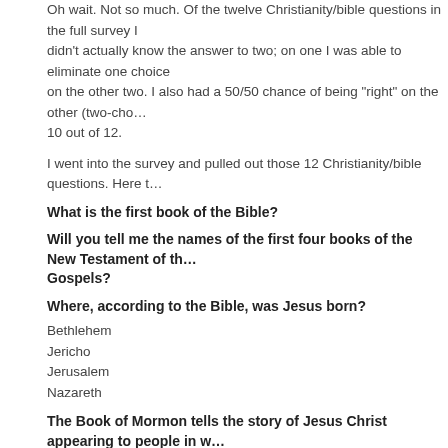Oh wait. Not so much. Of the twelve Christianity/bible questions in the full survey, I didn't actually know the answer to two; on one I was able to eliminate one choice on the other two. I also had a 50/50 chance of being "right" on the other (two-cho... 10 out of 12.
I went into the survey and pulled out those 12 Christianity/bible questions. Here t...
What is the first book of the Bible?
Will you tell me the names of the first four books of the New Testament of th... Gospels?
Where, according to the Bible, was Jesus born?
Bethlehem
Jericho
Jerusalem
Nazareth
The Book of Mormon tells the story of Jesus Christ appearing to people in w...
The Americas
Middle East
Asia
Which of the following best describes Catholic teaching about the bread an...
The bread and wine actually become the body and blood of Jesus Christ, or
The bread and wine are symbols of the body and blood of Jesus Christ
Which of these religious groups traditionally teaches that salvation comes...
Only Protestants